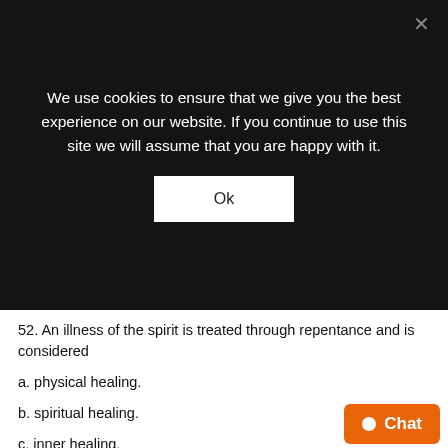We use cookies to ensure that we give you the best experience on our website. If you continue to use this site we will assume that you are happy with it.
Ok
52. An illness of the spirit is treated through repentance and is considered
a. physical healing.
b. spiritual healing.
c. inner healing.
d. deliverance.
53. The six-week postpartum check that women have after having a baby closely matches the crucial ________ day practice of ancient times.
a. seventh